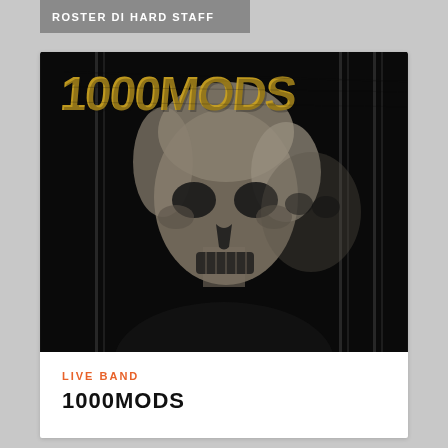ROSTER DI HARD STAFF
[Figure (illustration): Black and white promotional poster/album art for 1000MODS showing a skull-faced figure with the text '1000MODS' in large yellow/gold distressed font at the top, vertical stripe design elements on the sides, dark atmospheric background]
LIVE BAND
1000MODS